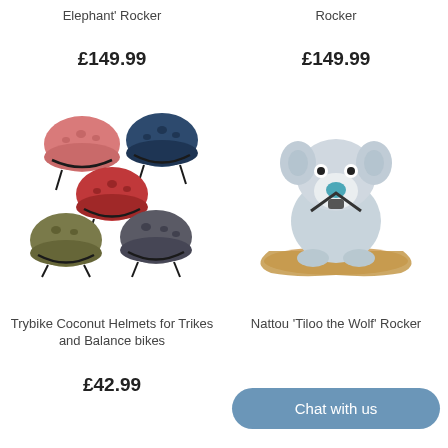Elephant' Rocker
Rocker
£149.99
£149.99
[Figure (photo): Five children's bike helmets in different colors: pink, red, olive/tan, dark navy blue, and dark gray, displayed together]
[Figure (photo): Nattou Tiloo the Wolf plush toy sitting on a wooden rocking base]
Trybike Coconut Helmets for Trikes and Balance bikes
Nattou 'Tiloo the Wolf' Rocker
£42.99
Chat with us